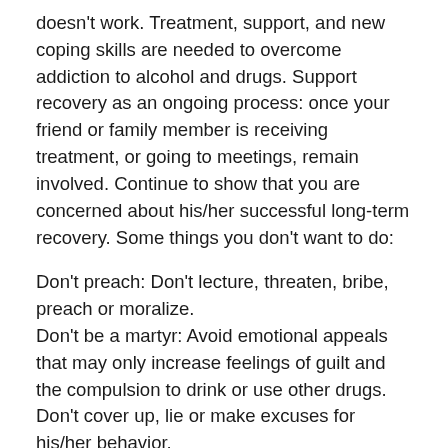doesn't work. Treatment, support, and new coping skills are needed to overcome addiction to alcohol and drugs. Support recovery as an ongoing process: once your friend or family member is receiving treatment, or going to meetings, remain involved. Continue to show that you are concerned about his/her successful long-term recovery. Some things you don't want to do:
Don't preach: Don't lecture, threaten, bribe, preach or moralize.
Don't be a martyr: Avoid emotional appeals that may only increase feelings of guilt and the compulsion to drink or use other drugs.
Don't cover up, lie or make excuses for his/her behavior.
Don't assume their responsibilities: taking over their responsibilities protects them from the consequences of their behavior.